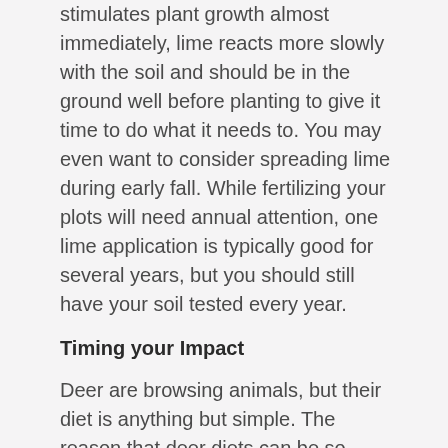stimulates plant growth almost immediately, lime reacts more slowly with the soil and should be in the ground well before planting to give it time to do what it needs to. You may even want to consider spreading lime during early fall. While fertilizing your plots will need annual attention, one lime application is typically good for several years, but you should still have your soil tested every year.
Timing your Impact
Deer are browsing animals, but their diet is anything but simple. The reason that deer diets can be so complex is because they get their nutrition from a long list of forages, woody browse, forbs, nuts, berries, agriculture crops, grasses and hundreds of other possibilities depending on your location. As the seasons change, so does the whitetail's